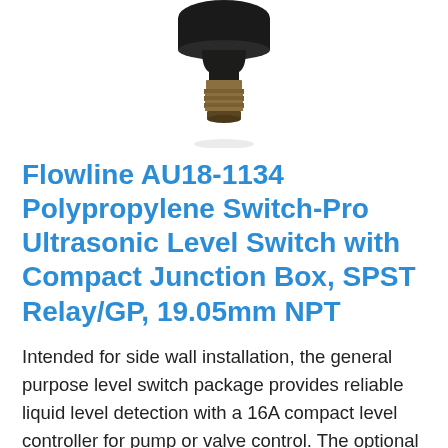[Figure (photo): Product photo of the Flowline AU18-1134 Polypropylene Switch-Pro Ultrasonic Level Switch showing a cylindrical sensor with a metal threaded fitting at bottom and a dark round housing at top, viewed from below/side angle against a white background.]
Flowline AU18-1134 Polypropylene Switch-Pro Ultrasonic Level Switch with Compact Junction Box, SPST Relay/GP, 19.05mm NPT
Intended for side wall installation, the general purpose level switch package provides reliable liquid level detection with a 16A compact level controller for pump or valve control. The optional flash alarm brings attention to alarm conditions. Offered in two level sensor technologies, select the type and material based upon your